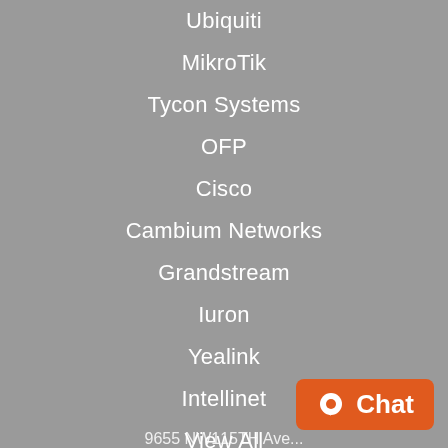Ubiquiti
MikroTik
Tycon Systems
OFP
Cisco
Cambium Networks
Grandstream
Iuron
Yealink
Intellinet
View All
Info
Sil Micro
9655 NW115TH Ave…